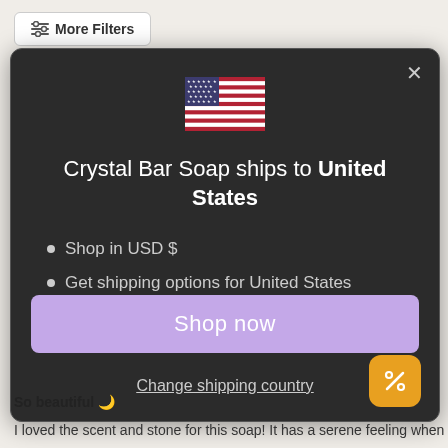[Figure (screenshot): More Filters button with icon in top left of page background]
[Figure (screenshot): Modal dialog on dark background showing US flag, shipping information for United States, Shop now button, and Change shipping country link]
So beautiful 🌙
I loved the scent and stone for this soap! It has a serene feeling when